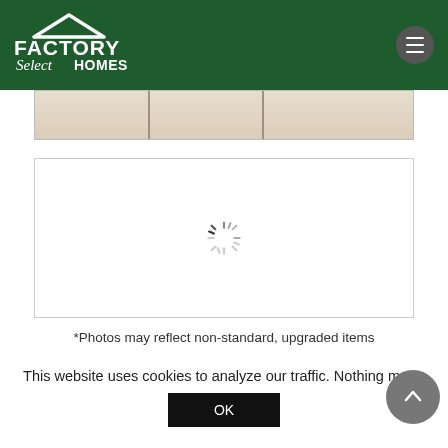[Figure (logo): Factory Select Homes logo — white house icon and text on dark green header background]
[Figure (photo): Partial view of a room interior with sliding closet doors, cropped at top]
[Figure (photo): Loading spinner (circular dashed icon) inside a white bordered box — image still loading]
*Photos may reflect non-standard, upgraded items
This website uses cookies to analyze our traffic. Nothing more.
OK